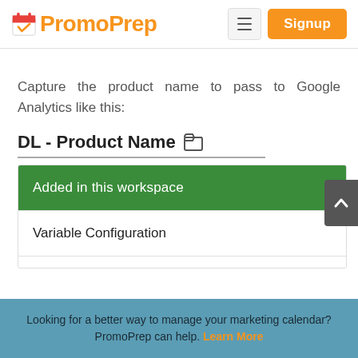[Figure (screenshot): PromoPrep logo with calendar icon in red and orange text, navigation menu button, and orange Signup button in the header]
Capture the product name to pass to Google Analytics like this:
[Figure (screenshot): Google Tag Manager UI showing 'DL - Product Name' variable with folder icon, a dropdown showing 'Added in this workspace' in green, and 'Variable Configuration' section below]
Looking for a better way to manage your marketing calendar? PromoPrep can help. Learn More